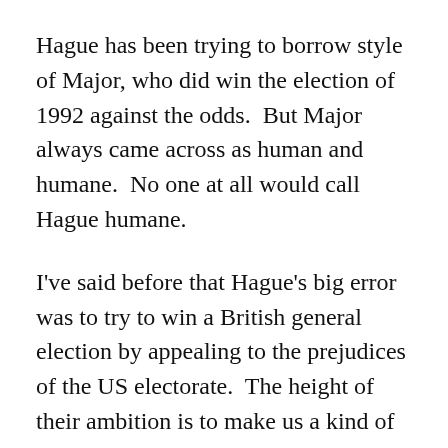Hague has been trying to borrow style of Major, who did win the election of 1992 against the odds.  But Major always came across as human and humane.  No one at all would call Hague humane.
I've said before that Hague's big error was to try to win a British general election by appealing to the prejudices of the US electorate.  The height of their ambition is to make us a kind of Extreme East Coast of the USA.  Most Britons who'd want that have probably moved to the USA already.
There's also the minor point that the USA does